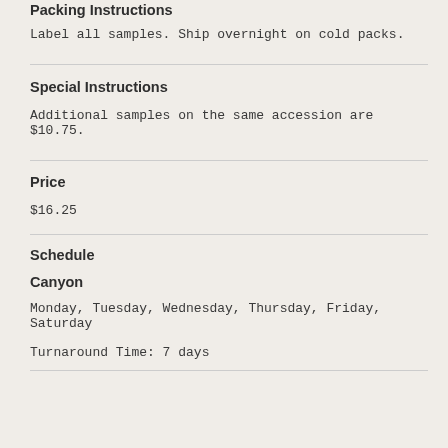Packing Instructions
Label all samples. Ship overnight on cold packs.
Special Instructions
Additional samples on the same accession are $10.75.
Price
$16.25
Schedule
Canyon
Monday, Tuesday, Wednesday, Thursday, Friday, Saturday
Turnaround Time: 7 days